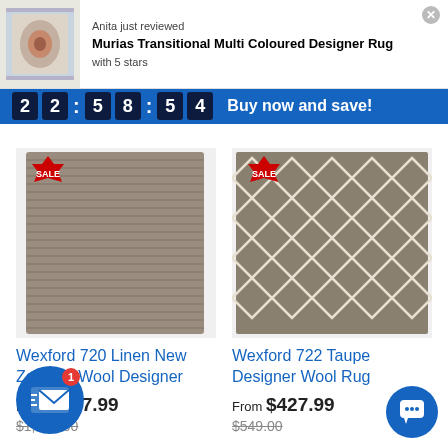Anita just reviewed
Murias Transitional Multi Coloured Designer Rug
with 5 stars
22:58:54 Buy now and save!
[Figure (photo): Plain taupe/linen ribbed rectangular rug with SALE badge]
Wexford 720 Linen New Zealand Wool Designer
From $997.99
$1,190.00
[Figure (photo): Taupe geometric diamond pattern wool rug with SALE badge]
Wexford 722 Taupe Designer Wool Rug
From $427.99
$549.00